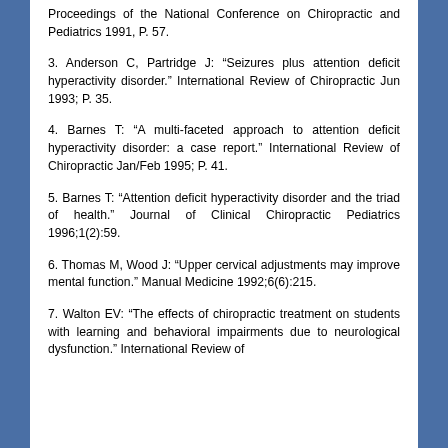Proceedings of the National Conference on Chiropractic and Pediatrics 1991, P. 57.
3. Anderson C, Partridge J: “Seizures plus attention deficit hyperactivity disorder.” International Review of Chiropractic Jun 1993; P. 35.
4. Barnes T: “A multi-faceted approach to attention deficit hyperactivity disorder: a case report.” International Review of Chiropractic Jan/Feb 1995; P. 41.
5. Barnes T: “Attention deficit hyperactivity disorder and the triad of health.” Journal of Clinical Chiropractic Pediatrics 1996;1(2):59.
6. Thomas M, Wood J: “Upper cervical adjustments may improve mental function.” Manual Medicine 1992;6(6):215.
7. Walton EV: “The effects of chiropractic treatment on students with learning and behavioral impairments due to neurological dysfunction.” International Review of